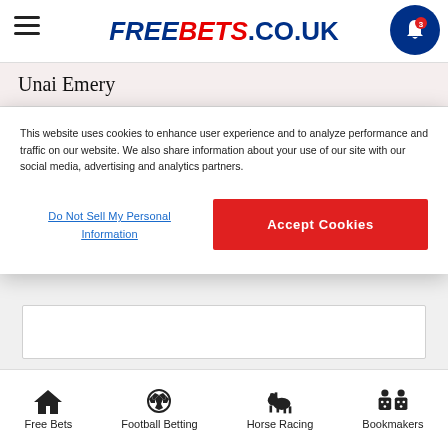FREEBETS.CO.UK
Unai Emery
This website uses cookies to enhance user experience and to analyze performance and traffic on our website. We also share information about your use of our site with our social media, advertising and analytics partners.
Do Not Sell My Personal Information
Accept Cookies
opinion stage - create your own poll
[Figure (logo): bet365 logo - green square with white 'bet' and yellow '365']
bet365
[Figure (logo): Paddy Power PP logo - dark green square with white PP text]
Paddy
Free Bets | Football Betting | Horse Racing | Bookmakers